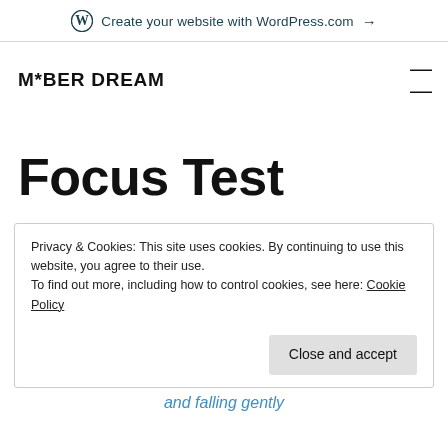Create your website with WordPress.com →
M*BER DREAM
Focus Test
Privacy & Cookies: This site uses cookies. By continuing to use this website, you agree to their use.
To find out more, including how to control cookies, see here: Cookie Policy
Close and accept
and falling gently